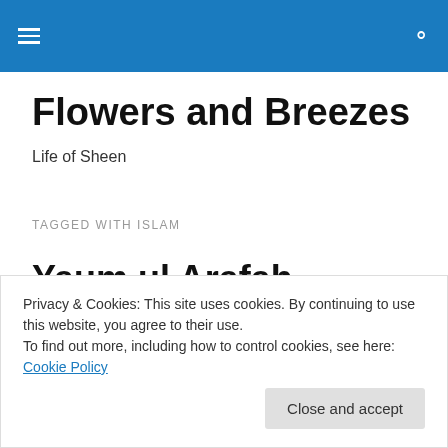[hamburger menu] Flowers and Breezes [search icon]
Flowers and Breezes
Life of Sheen
TAGGED WITH ISLAM
Yaum ul Arafah
Yaum means Day. Today is Yaum ul Arafah. It's the ninth
Privacy & Cookies: This site uses cookies. By continuing to use this website, you agree to their use.
To find out more, including how to control cookies, see here: Cookie Policy
[Close and accept]